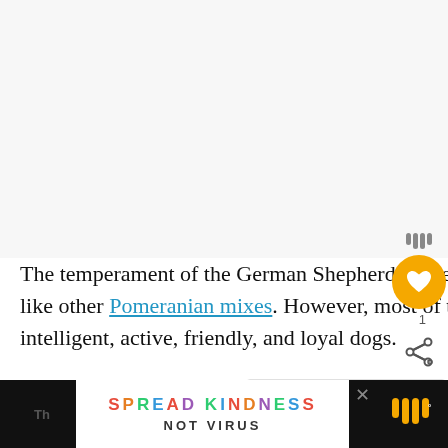[Figure (illustration): Light gray placeholder area representing an image at the top of the page]
The temperament of the German Shepherd Pomeranian could vary significantly, just like other Pomeranian mixes. However, most of them are known to be highly intelligent, active, friendly, and loyal dogs.
[Figure (infographic): WHAT'S NEXT banner with thumbnail image: Buying a Pet Monkey: Ho...]
[Figure (infographic): Advertisement banner: SPREAD KINDNESS NOT VIRUS with close button]